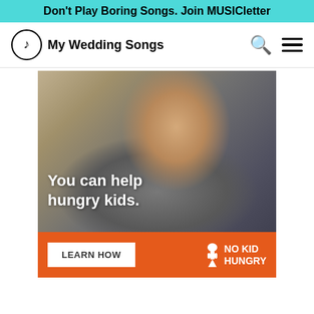Don't Play Boring Songs. Join MUSICletter
My Wedding Songs
[Figure (photo): Advertisement for No Kid Hungry charity. Shows a young boy eating with the overlay text 'You can help hungry kids.' An orange banner below contains a white 'LEARN HOW' button and the No Kid Hungry logo.]
READ MORE
on Newz Online